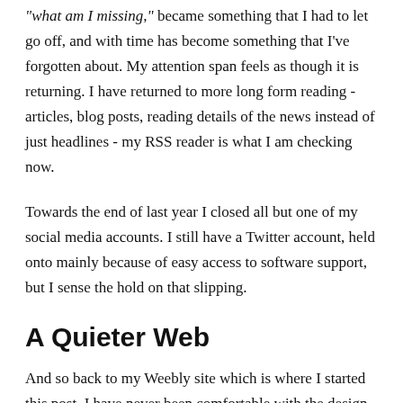"what am I missing," became something that I had to let go off, and with time has become something that I've forgotten about. My attention span feels as though it is returning. I have returned to more long form reading - articles, blog posts, reading details of the news instead of just headlines - my RSS reader is what I am checking now.
Towards the end of last year I closed all but one of my social media accounts. I still have a Twitter account, held onto mainly because of easy access to software support, but I sense the hold on that slipping.
A Quieter Web
And so back to my Weebly site which is where I started this post. I have never been comfortable with the design